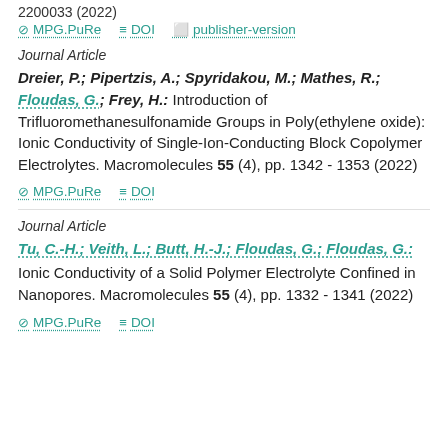2200033 (2022)
⊘ MPG.PuRe  ≡ DOI  ⬜ publisher-version
Journal Article
Dreier, P.; Pipertzis, A.; Spyridakou, M.; Mathes, R.; Floudas, G.; Frey, H.: Introduction of Trifluoromethanesulfonamide Groups in Poly(ethylene oxide): Ionic Conductivity of Single-Ion-Conducting Block Copolymer Electrolytes. Macromolecules 55 (4), pp. 1342 - 1353 (2022)
⊘ MPG.PuRe  ≡ DOI
Journal Article
Tu, C.-H.; Veith, L.; Butt, H.-J.; Floudas, G.; Floudas, G.: Ionic Conductivity of a Solid Polymer Electrolyte Confined in Nanopores. Macromolecules 55 (4), pp. 1332 - 1341 (2022)
⊘ MPG.PuRe  ≡ DOI